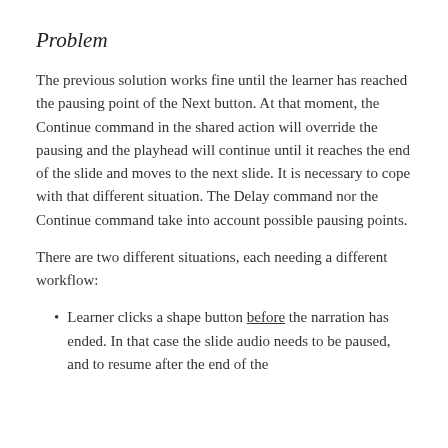Problem
The previous solution works fine until the learner has reached the pausing point of the Next button. At that moment, the Continue command in the shared action will override the pausing and the playhead will continue until it reaches the end of the slide and moves to the next slide. It is necessary to cope with that different situation. The Delay command nor the Continue command take into account possible pausing points.
There are two different situations, each needing a different workflow:
Learner clicks a shape button before the narration has ended. In that case the slide audio needs to be paused, and to resume after the end of the